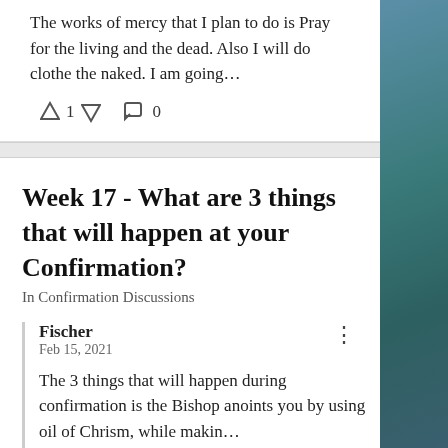The works of mercy that I plan to do is Pray for the living and the dead. Also I will do clothe the naked. I am going…
↑ 1 ↓   💬 0
Week 17 - What are 3 things that will happen at your Confirmation?
In Confirmation Discussions
Fischer
Feb 15, 2021
The 3 things that will happen during confirmation is the Bishop anoints you by using oil of Chrism, while makin…
↑ 1 ↓   💬 0
Lesson 16 - Have you met